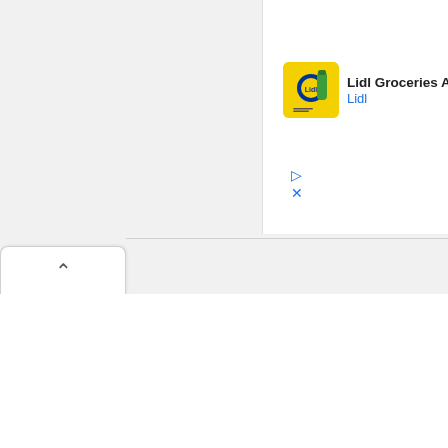[Figure (screenshot): Partial browser screenshot showing a Lidl advertisement panel in the top-right area with Lidl logo, text 'Lidl Groceries Are Lo' and 'Lidl' in blue, along with play and close icons. On the left is a browser tab with a chevron/up arrow icon.]